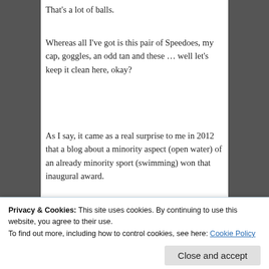That’s a lot of balls.
Whereas all I’ve got is this pair of Speedoes, my cap, goggles, an odd tan and these … well let’s keep it clean here, okay?
As I say, it came as a real surprise to me in 2012 that a blog about a minority aspect (open water) of an already minority sport (swimming) won that inaugural award.
[Figure (screenshot): Advertisement banner with text: Build a better web and a better world.]
Therefore to once...
[Figure (screenshot): Partial image link: Blog awards Ireland]
for a second time, is
Privacy & Cookies: This site uses cookies. By continuing to use this website, you agree to their use.
To find out more, including how to control cookies, see here: Cookie Policy
Close and accept